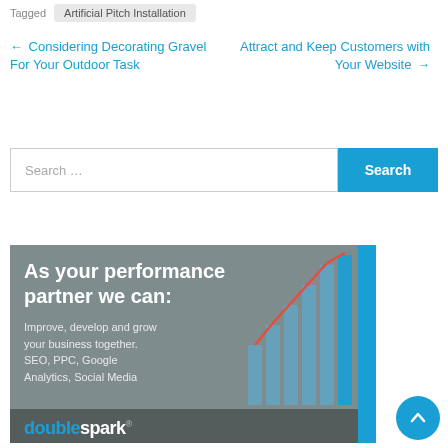Tagged  Artificial Pitch Installation
← Considering Decorating Gravel For Your Outdoor Task
Attract and Keep Customers with Your Website →
Search ...
[Figure (screenshot): Ad banner for doublespark with text: As your performance partner we can: Improve, develop and grow your business together. SEO, PPC, Google Analytics, Social Media. Shows a bar chart on the right side and the doublespark logo at the bottom.]